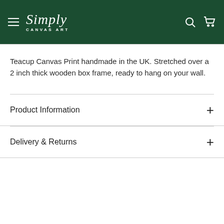Simply Canvas Art
Teacup Canvas Print handmade in the UK. Stretched over a 2 inch thick wooden box frame, ready to hang on your wall.
Product Information
Delivery & Returns